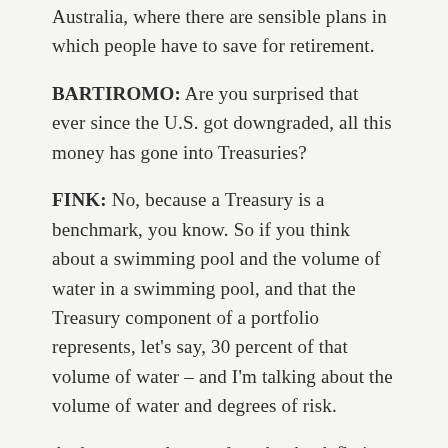Australia, where there are sensible plans in which people have to save for retirement.
BARTIROMO: Are you surprised that ever since the U.S. got downgraded, all this money has gone into Treasuries?
FINK: No, because a Treasury is a benchmark, you know. So if you think about a swimming pool and the volume of water in a swimming pool, and that the Treasury component of a portfolio represents, let's say, 30 percent of that volume of water – and I'm talking about the volume of water and degrees of risk.
And we want the people to be the deflation all